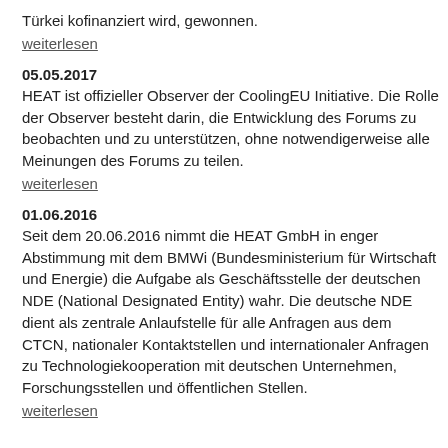Türkei kofinanziert wird, gewonnen.
weiterlesen
05.05.2017
HEAT ist offizieller Observer der CoolingEU Initiative. Die Rolle der Observer besteht darin, die Entwicklung des Forums zu beobachten und zu unterstützen, ohne notwendigerweise alle Meinungen des Forums zu teilen.
weiterlesen
01.06.2016
Seit dem 20.06.2016 nimmt die HEAT GmbH in enger Abstimmung mit dem BMWi (Bundesministerium für Wirtschaft und Energie) die Aufgabe als Geschäftsstelle der deutschen NDE (National Designated Entity) wahr. Die deutsche NDE dient als zentrale Anlaufstelle für alle Anfragen aus dem CTCN, nationaler Kontaktstellen und internationaler Anfragen zu Technologiekooperation mit deutschen Unternehmen, Forschungsstellen und öffentlichen Stellen.
weiterlesen